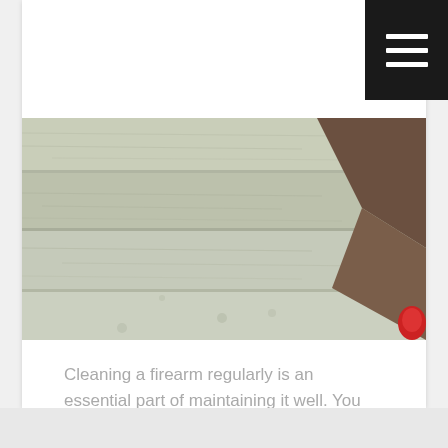[Figure (photo): Close-up photo of weathered wooden deck boards with horizontal grain texture, light gray-green color. A dark wooden railing or border is visible in the upper right corner, and a small red object appears at the lower right edge.]
Cleaning a firearm regularly is an essential part of maintaining it well. You can experience a smooth operation with your firearm if it is cleaned well after every time you...
READ MORE